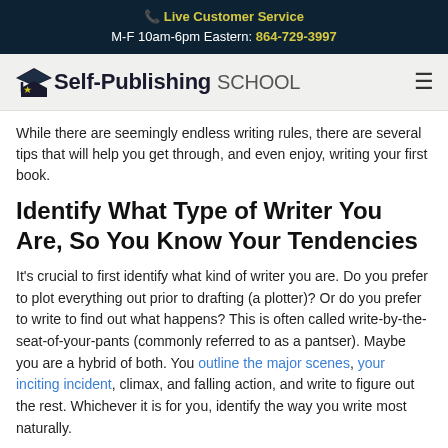📞 Live Customer Service
M-F 10am-6pm Eastern: 864-729-3997
[Figure (logo): Self-Publishing School logo with graduation cap icon and text 'Self-Publishing SCHOOL']
While there are seemingly endless writing rules, there are several tips that will help you get through, and even enjoy, writing your first book.
Identify What Type of Writer You Are, So You Know Your Tendencies
It's crucial to first identify what kind of writer you are. Do you prefer to plot everything out prior to drafting (a plotter)? Or do you prefer to write to find out what happens? This is often called write-by-the-seat-of-your-pants (commonly referred to as a pantser). Maybe you are a hybrid of both. You outline the major scenes, your inciting incident, climax, and falling action, and write to figure out the rest. Whichever it is for you, identify the way you write most naturally.
This will allow you to utilize your writing time more effectively each day. More on writing routines in a minute.
Find Community
After identifying if you are a plotter or a pantser, it's important to surround yourself with...